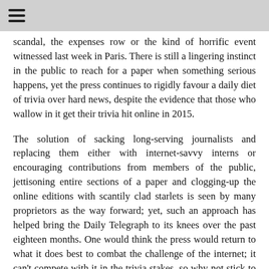≡
scandal, the expenses row or the kind of horrific event witnessed last week in Paris. There is still a lingering instinct in the public to reach for a paper when something serious happens, yet the press continues to rigidly favour a daily diet of trivia over hard news, despite the evidence that those who wallow in it get their trivia hit online in 2015.
The solution of sacking long-serving journalists and replacing them either with internet-savvy interns or encouraging contributions from members of the public, jettisoning entire sections of a paper and clogging-up the online editions with scantily clad starlets is seen by many proprietors as the way forward; yet, such an approach has helped bring the Daily Telegraph to its knees over the past eighteen months. One would think the press would return to what it does best to combat the challenge of the internet; it can't compete with it in the trivia stakes, so why not stick to actual news stories written by those who have studied their specialist subjects for many years and are an authority on them? Failing that, why not recruit the excellent online writers that are out there? Or maybe the physical paper as a news